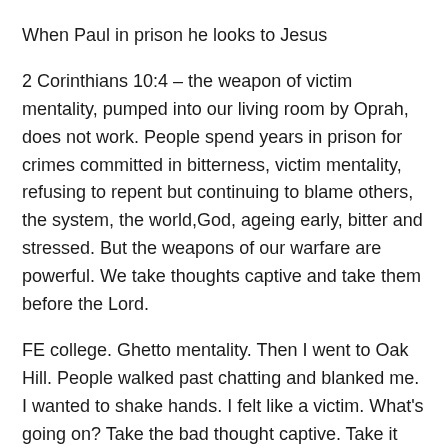When Paul in prison he looks to Jesus
2 Corinthians 10:4 – the weapon of victim mentality, pumped into our living room by Oprah, does not work. People spend years in prison for crimes committed in bitterness, victim mentality, refusing to repent but continuing to blame others, the system, the world,God, ageing early, bitter and stressed. But the weapons of our warfare are powerful. We take thoughts captive and take them before the Lord.
FE college. Ghetto mentality. Then I went to Oak Hill. People walked past chatting and blanked me. I wanted to shake hands. I felt like a victim. What’s going on? Take the bad thought captive. Take it hostage. This is cultural not personal. The lack of acknowledgement does not mean I am not respected.